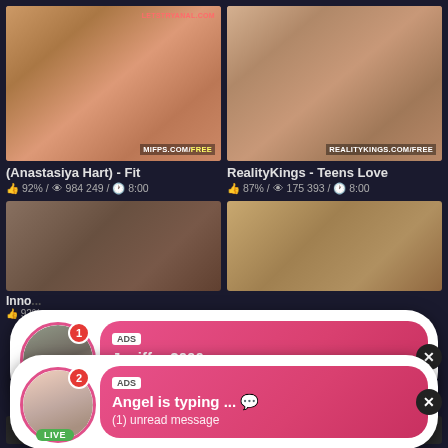[Figure (screenshot): Adult video thumbnail left - (Anastasiya Hart) - Fit with watermarks LETSTRYANAL.COM and MIFPS.COM/FREE]
(Anastasiya Hart) - Fit
92% / 984 249 / 8:00
[Figure (screenshot): Adult video thumbnail right - RealityKings - Teens Love with watermark REALITYKINGS.COM/FREE]
RealityKings - Teens Love
87% / 175 393 / 8:00
[Figure (screenshot): Ad overlay 1: Avatar of woman with LIVE badge and notification badge '1', ADS tag, name Jeniffer 2000, time (00:12) with emoji]
[Figure (screenshot): Ad overlay 2: Avatar of woman (chest photo) with LIVE badge, ADS tag, Angel is typing ... with emoji, (1) unread message]
Inno...
92% ...